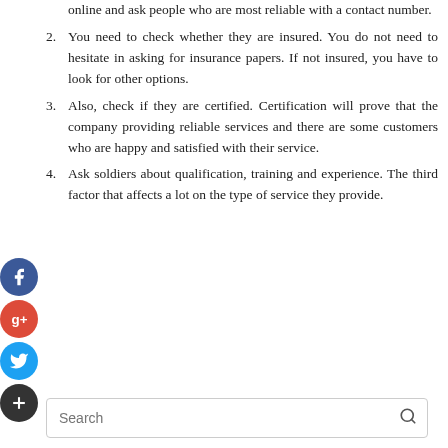online and ask people who are most reliable with a contact number.
2. You need to check whether they are insured. You do not need to hesitate in asking for insurance papers. If not insured, you have to look for other options.
3. Also, check if they are certified. Certification will prove that the company providing reliable services and there are some customers who are happy and satisfied with their service.
4. Ask soldiers about qualification, training and experience. The third factor that affects a lot on the type of service they provide.